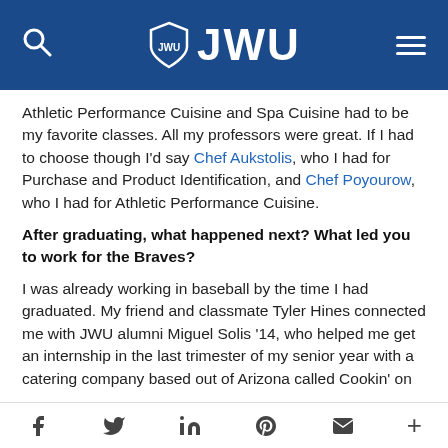JWU
Athletic Performance Cuisine and Spa Cuisine had to be my favorite classes. All my professors were great. If I had to choose though I'd say Chef Aukstolis, who I had for Purchase and Product Identification, and Chef Poyourow, who I had for Athletic Performance Cuisine.
After graduating, what happened next? What led you to work for the Braves?
I was already working in baseball by the time I had graduated. My friend and classmate Tyler Hines connected me with JWU alumni Miguel Solis '14, who helped me get an internship in the last trimester of my senior year with a catering company based out of Arizona called Cookin' on
f  y  in  P  [mail]  +